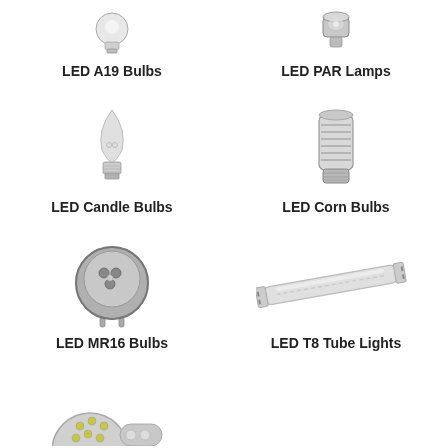[Figure (illustration): LED A19 Bulb product photo]
LED A19 Bulbs
[Figure (illustration): LED PAR Lamp product photo]
LED PAR Lamps
[Figure (illustration): LED Candle Bulb product photo]
LED Candle Bulbs
[Figure (illustration): LED Corn Bulb product photo]
LED Corn Bulbs
[Figure (illustration): LED MR16 Bulb product photo]
LED MR16 Bulbs
[Figure (illustration): LED T8 Tube Light product photo]
LED T8 Tube Lights
[Figure (illustration): LED bulb product photos (bottom row, partial)]